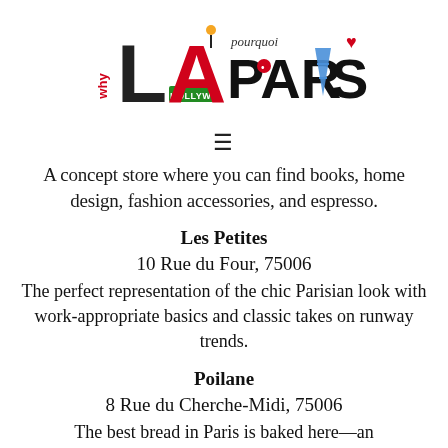[Figure (logo): Why LA / Pourquoi Paris logo with Hollywood sign and Eiffel Tower imagery]
≡
A concept store where you can find books, home design, fashion accessories, and espresso.
Les Petites
10 Rue du Four, 75006
The perfect representation of the chic Parisian look with work-appropriate basics and classic takes on runway trends.
Poilane
8 Rue du Cherche-Midi, 75006
The best bread in Paris is baked here—an